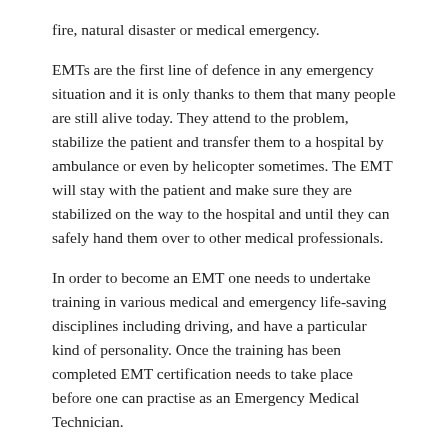fire, natural disaster or medical emergency.
EMTs are the first line of defence in any emergency situation and it is only thanks to them that many people are still alive today. They attend to the problem, stabilize the patient and transfer them to a hospital by ambulance or even by helicopter sometimes. The EMT will stay with the patient and make sure they are stabilized on the way to the hospital and until they can safely hand them over to other medical professionals.
In order to become an EMT one needs to undertake training in various medical and emergency life-saving disciplines including driving, and have a particular kind of personality. Once the training has been completed EMT certification needs to take place before one can practise as an Emergency Medical Technician.
TRAINING
Looking At EMT Programs In Wyoming